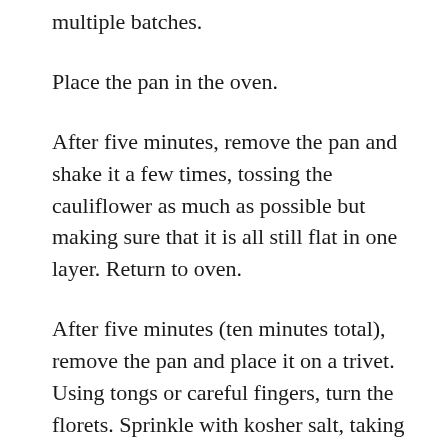multiple batches.
Place the pan in the oven.
After five minutes, remove the pan and shake it a few times, tossing the cauliflower as much as possible but making sure that it is all still flat in one layer. Return to oven.
After five minutes (ten minutes total), remove the pan and place it on a trivet. Using tongs or careful fingers, turn the florets. Sprinkle with kosher salt, taking care not to use too much. Return to oven.
After five minutes (fifteen minutes total),